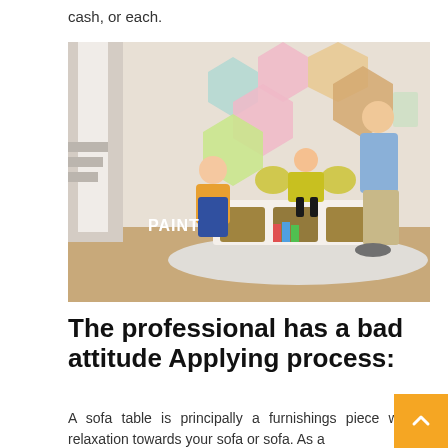cash, or each.
[Figure (photo): A family scene in a decorated room with colorful hexagonal shapes on the wall. A woman kneels on the left, a child in a butterfly costume stands on a white storage bench in the center, and a man stands on the right. The word PAINT appears in white bold text in the lower left of the image.]
The professional has a bad attitude Applying process:
A sofa table is principally a furnishings piece will relaxation towards your sofa or sofa. As a